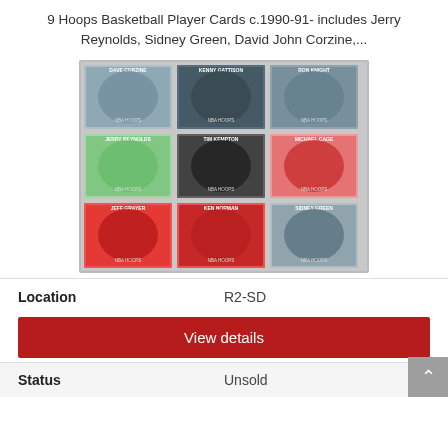9 Hoops Basketball Player Cards c.1990-91- includes Jerry Reynolds, Sidney Green, David John Corzine,...
[Figure (photo): Grid of 9 Hoops basketball cards arranged 3x3, showing various NBA players in action poses]
| Location | R2-SD |
| --- | --- |
View details
| Status | Unsold |
| --- | --- |